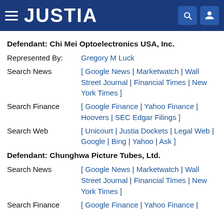JUSTIA
Defendant: Chi Mei Optoelectronics USA, Inc.
Represented By: Gregory M Luck
Search News [ Google News | Marketwatch | Wall Street Journal | Financial Times | New York Times ]
Search Finance [ Google Finance | Yahoo Finance | Hoovers | SEC Edgar Filings ]
Search Web [ Unicourt | Justia Dockets | Legal Web | Google | Bing | Yahoo | Ask ]
Defendant: Chunghwa Picture Tubes, Ltd.
Search News [ Google News | Marketwatch | Wall Street Journal | Financial Times | New York Times ]
Search Finance [ Google Finance | Yahoo Finance |